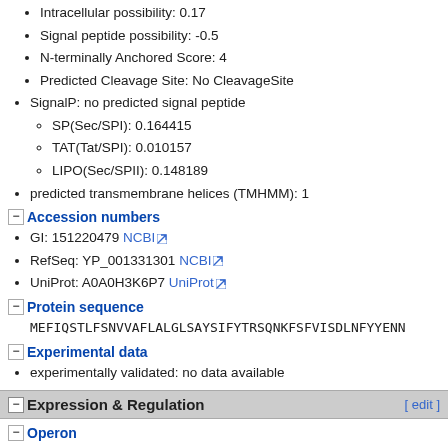Intracellular possibility: 0.17
Signal peptide possibility: -0.5
N-terminally Anchored Score: 4
Predicted Cleavage Site: No CleavageSite
SignalP: no predicted signal peptide
SP(Sec/SPI): 0.164415
TAT(Tat/SPI): 0.010157
LIPO(Sec/SPII): 0.148189
predicted transmembrane helices (TMHMM): 1
Accession numbers
GI: 151220479 NCBI
RefSeq: YP_001331301 NCBI
UniProt: A0A0H3K6P7 UniProt
Protein sequence
MEFIQSTLFSNVVAFLALGLSAYSIFYTRSQNKFSFVISDLNFYYEN...
Experimental data
experimentally validated: no data available
Expression & Regulation
Operon
NWMN_0267 no polycistronic organisation predicted